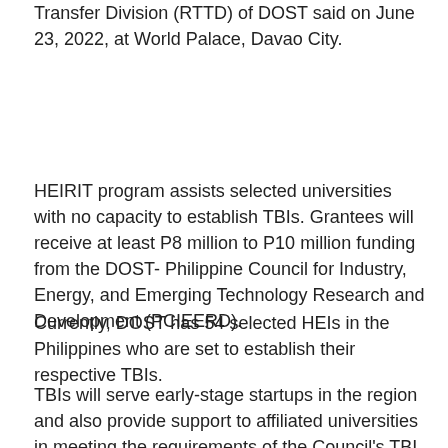Transfer Division (RTTD) of DOST said on June 23, 2022, at World Palace, Davao City.
HEIRIT program assists selected universities with no capacity to establish TBIs. Grantees will receive at least P8 million to P10 million funding from the DOST- Philippine Council for Industry, Energy, and Emerging Technology Research and Development (PCIEERD).
Currently, DOST has 54 selected HEIs in the Philippines who are set to establish their respective TBIs.
TBIs will serve early-stage startups in the region and also provide support to affiliated universities in meeting the requirements of the Council's TBI funding.